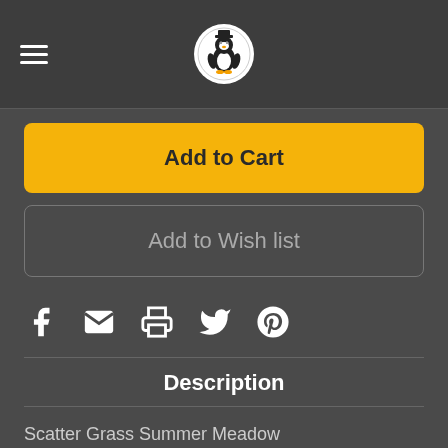Navigation header with hamburger menu and logo
Add to Cart
Add to Wish list
[Figure (illustration): Social sharing icons: Facebook, Email/Envelope, Print, Twitter, Pinterest]
Description
Scatter Grass Summer Meadow
2,5mm, 120g container
Scatter Grass is...